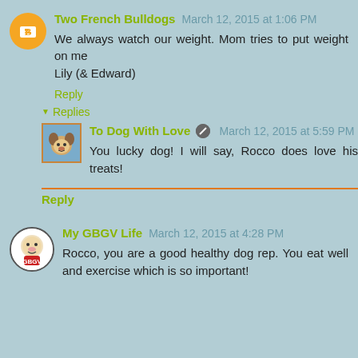Two French Bulldogs March 12, 2015 at 1:06 PM
We always watch our weight. Mom tries to put weight on me
Lily (& Edward)
Reply
Replies
To Dog With Love March 12, 2015 at 5:59 PM
You lucky dog! I will say, Rocco does love his treats!
Reply
My GBGV Life March 12, 2015 at 4:28 PM
Rocco, you are a good healthy dog rep. You eat well and exercise which is so important!